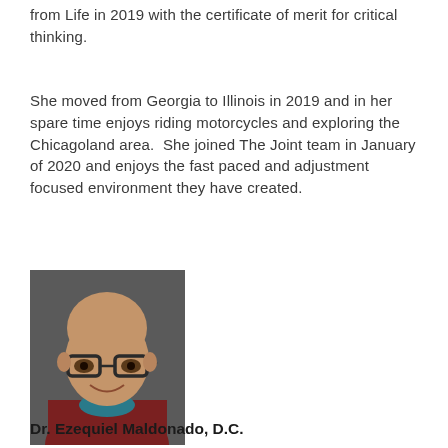from Life in 2019 with the certificate of merit for critical thinking.
She moved from Georgia to Illinois in 2019 and in her spare time enjoys riding motorcycles and exploring the Chicagoland area.  She joined The Joint team in January of 2020 and enjoys the fast paced and adjustment focused environment they have created.
[Figure (photo): Professional headshot of Dr. Ezequiel Maldonado, D.C., a bald man wearing glasses and a dark red/maroon zip-up sweater over a teal/blue shirt, smiling, against a dark gray background.]
Dr. Ezequiel Maldonado, D.C.